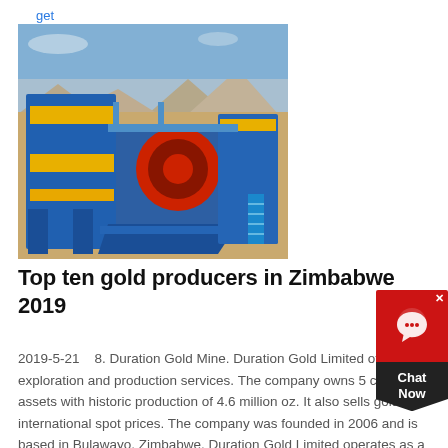get price
[Figure (photo): Industrial gold mining crusher/processing machine in blue and yellow, set in an arid outdoor environment with mountains in the background.]
Top ten gold producers in Zimbabwe 2019
2019-5-21    8. Duration Gold Mine. Duration Gold Limited offers gold exploration and production services. The company owns 5 core assets with historic production of 4.6 million oz. It also sells gold at international spot prices. The company was founded in 2006 and is based in Bulawayo, Zimbabwe. Duration Gold Limited operates as a subsidiary of Clarity Enterprises Limited